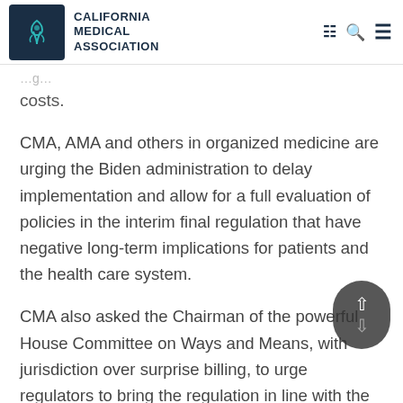California Medical Association
costs.
CMA, AMA and others in organized medicine are urging the Biden administration to delay implementation and allow for a full evaluation of policies in the interim final regulation that have negative long-term implications for patients and the health care system.
CMA also asked the Chairman of the powerful House Committee on Ways and Means, with jurisdiction over surprise billing, to urge regulators to bring the regulation in line with the law and Congressional intent. Subsequently, Chairman Richard Neal and Ranking Member